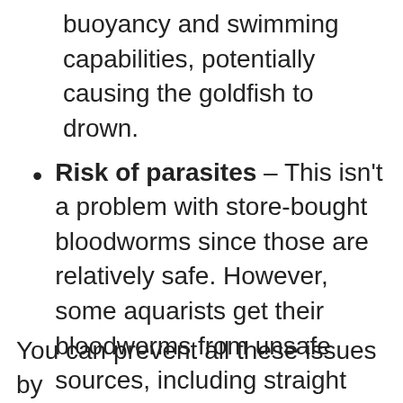buoyancy and swimming capabilities, potentially causing the goldfish to drown.
Risk of parasites – This isn't a problem with store-bought bloodworms since those are relatively safe. However, some aquarists get their bloodworms from unsafe sources, including straight from the wild. This is a mistake since these bloodworms are generally packed with bacteria and parasites that will transmit to your fish.
You can prevent all these issues by